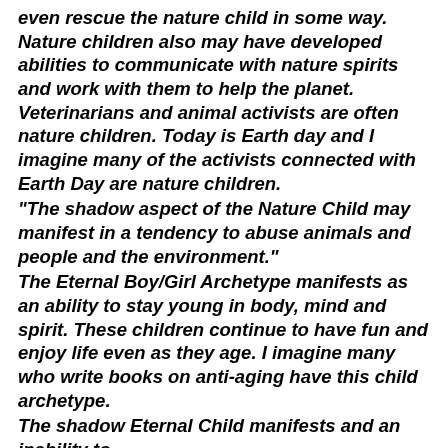even rescue the nature child in some way. Nature children also may have developed abilities to communicate with nature spirits and work with them to help the planet. Veterinarians and animal activists are often nature children. Today is Earth day and I imagine many of the activists connected with Earth Day are nature children.
“The shadow aspect of the Nature Child may manifest in a tendency to abuse animals and people and the environment.”
The Eternal Boy/Girl Archetype manifests as an ability to stay young in body, mind and spirit. These children continue to have fun and enjoy life even as they age. I imagine many who write books on anti-aging have this child archetype.
The shadow Eternal Child manifests and an inability to